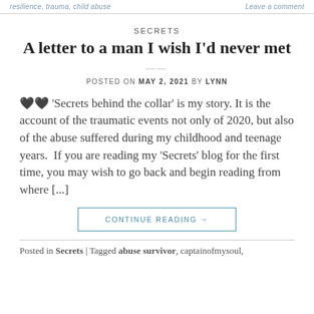resilience, trauma, child abuse | Leave a comment
SECRETS
A letter to a man I wish I'd never met
POSTED ON MAY 2, 2021 BY LYNN
🖤🖤 'Secrets behind the collar' is my story. It is the account of the traumatic events not only of 2020, but also of the abuse suffered during my childhood and teenage years.  If you are reading my 'Secrets' blog for the first time, you may wish to go back and begin reading from where [...]
CONTINUE READING →
Posted in Secrets | Tagged abuse survivor, captainofmysoul,